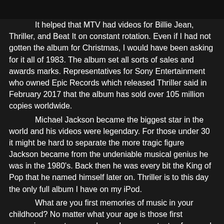[Figure (other): Dark black bar at top of page, partial image]
It helped that MTV had videos for Billie Jean, Thriller, and Beat It on constant rotation. Even if I had not gotten the album for Christmas, I would have been asking for it all of 1983. The album set all sorts of sales and awards marks. Representatives for Sony Entertainment who owned Epic Records which released Thriller said in February 2017 that the album has sold over 105 million copies worldwide.
Michael Jackson became the biggest star in the world and his videos were legendary. For those under 30 it might be hard to separate the more tragic figure Jackson became from the undeniable musical genius he was in the 1980's. Back then he was every bit the King of Pop that he named himself later on. Thriller is to this day the only full album I have on my iPod.
What are you first memories of music in your childhood? No matter what your age is those first memories are strong and can shape your tastes forever. I can look back today and realize how my parents influenced my musical preferences. Thanks